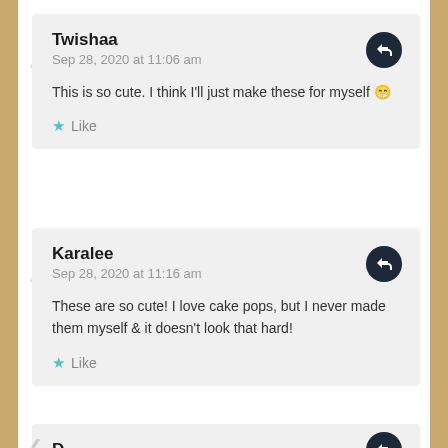Twishaa
Sep 28, 2020 at 11:06 am

This is so cute. I think I'll just make these for myself 😀

★ Like
Karalee
Sep 28, 2020 at 11:16 am

These are so cute! I love cake pops, but I never made them myself & it doesn't look that hard!

★ Like
D...